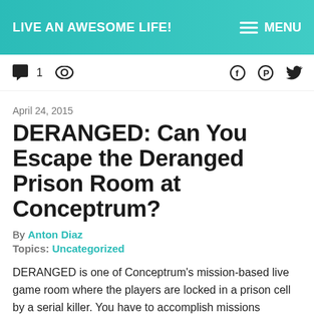LIVE AN AWESOME LIFE!  MENU
💬 1  👁
April 24, 2015
DERANGED: Can You Escape the Deranged Prison Room at Conceptrum?
By Anton Diaz
Topics: Uncategorized
DERANGED is one of Conceptrum's mission-based live game room where the players are locked in a prison cell by a serial killer. You have to accomplish missions